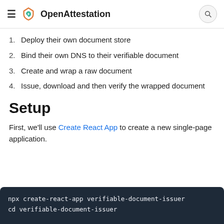OpenAttestation
1. Deploy their own document store
2. Bind their own DNS to their verifiable document
3. Create and wrap a raw document
4. Issue, download and then verify the wrapped document
Setup
First, we'll use Create React App to create a new single-page application.
[Figure (screenshot): Code block showing: npx create-react-app verifiable-document-issuer
cd verifiable-document-issuer]